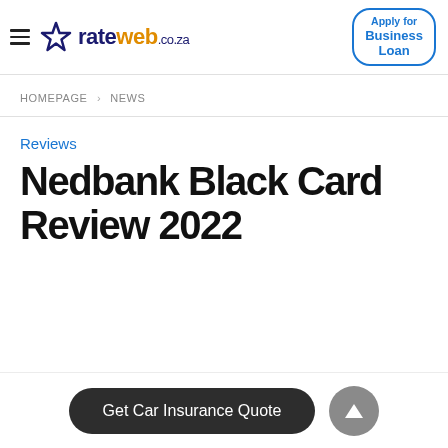rateweb.co.za — Apply for Business Loan
HOMEPAGE › NEWS
Reviews
Nedbank Black Card Review 2022
Get Car Insurance Quote